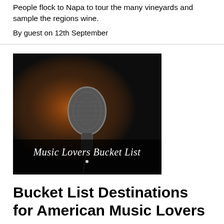People flock to Napa to tour the many vineyards and sample the regions wine.
By guest on 12th September
[Figure (photo): A close-up photo of a microphone against a dark background with warm orange lighting, with text overlay reading 'Music Lovers Bucket List' in a cursive/script font]
Bucket List Destinations for American Music Lovers
Music fans, take note. It's time you put your fandom to the test and take to the open road to visit some of America's most lauded music destinations.